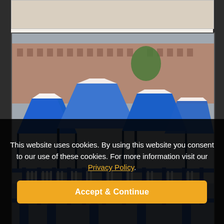[Figure (photo): Outdoor market scene with blue gazebo tents set up along a waterfront railing, with buildings in background. Advertisement for Southern Market Traders - Gazebos For HIRE. Text reads CLICK HERE TO FIND OUT MORE. We Provide The Perfect Shelter For Your Stalls. We'll Bring The Gazebos Along. Put...]
This website uses cookies. By using this website you consent to our use of these cookies. For more information visit our Privacy Policy.
Accept & Continue